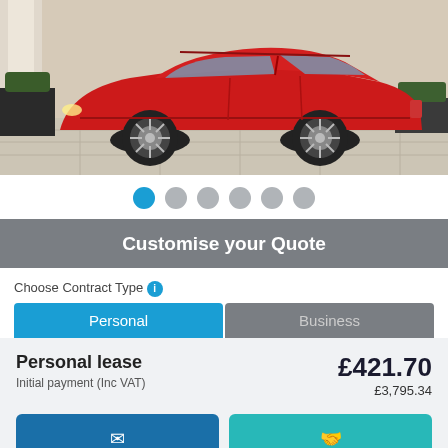[Figure (photo): Red SUV/crossover car (Kia Niro or similar) photographed from the side in an outdoor setting with paving stones, plant boxes, and architectural columns in the background.]
Customise your Quote
Choose Contract Type
Personal
Business
Personal lease
Initial payment (Inc VAT)
£421.70
£3,795.34
Email me this quote
Apply for this deal